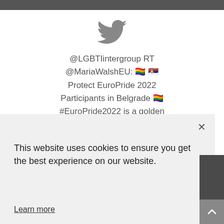[Figure (logo): Twitter bird logo in gray]
@LGBTIintergroup RT @MariaWalshEU: 🏳️‍🌈 🇷🇸 Protect EuroPride 2022 Participants in Belgrade 🏳️‍🌈 #EuroPride2022 is a golden
This website uses cookies to ensure you get the best experience on our website.
Learn more
Decline
Accept